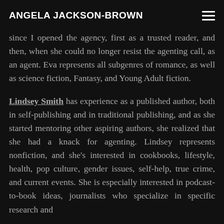ANGELA JACKSON-BROWN
since I opened the agency, first as a trusted reader, and then, when she could no longer resist the agenting call, as an agent. Eva represents all subgenres of romance, as well as science fiction, Fantasy, and Young Adult fiction.
Lindsey Smith has experience as a published author, both in self-publishing and in traditional publishing, and as she started mentoring other aspiring authors, she realized that she had a knack for agenting. Lindsey represents nonfiction, and she's interested in cookbooks, lifestyle, health, pop culture, gender issues, self-help, true crime, and current events. She is especially interested in podcast-to-book ideas, journalists who specialize in specific research and